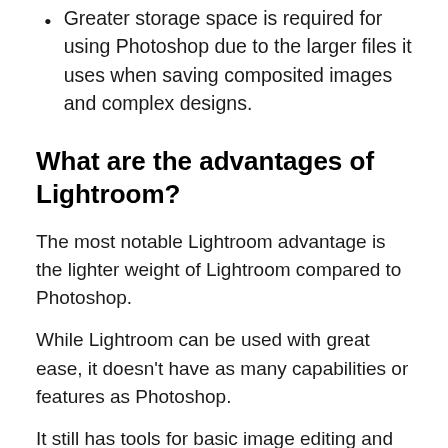Greater storage space is required for using Photoshop due to the larger files it uses when saving composited images and complex designs.
What are the advantages of Lightroom?
The most notable Lightroom advantage is the lighter weight of Lightroom compared to Photoshop.
While Lightroom can be used with great ease, it doesn't have as many capabilities or features as Photoshop.
It still has tools for basic image editing and retouching but lacks some more advanced functionality that you may need if you are a professional photographer.